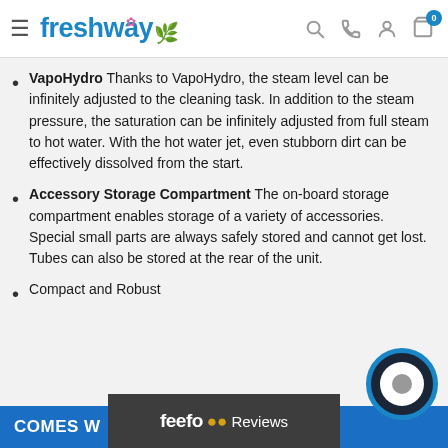Freshway - navigation header with logo and icons
VapoHydro Thanks to VapoHydro, the steam level can be infinitely adjusted to the cleaning task. In addition to the steam pressure, the saturation can be infinitely adjusted from full steam to hot water. With the hot water jet, even stubborn dirt can be effectively dissolved from the start.
Accessory Storage Compartment The on-board storage compartment enables storage of a variety of accessories. Special small parts are always safely stored and cannot get lost. Tubes can also be stored at the rear of the unit.
Compact and Robust
COMES W[ITH...]  feefo Reviews